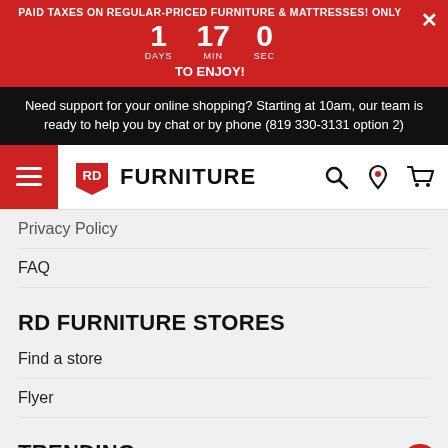PAID TAXES ON REGULAR-PRICED FURNITURE & MATTRESSES! ONLY 1 17 0 DAYS MIN SEC TO ENJOY!
Need support for your online shopping? Starting at 10am, our team is ready to help you by chat or by phone (819 330-3131 option 2)
[Figure (logo): RD Furniture logo with hamburger menu and navigation icons (search, location, cart)]
Privacy Policy
FAQ
RD FURNITURE STORES
Find a store
Flyer
TRENDING